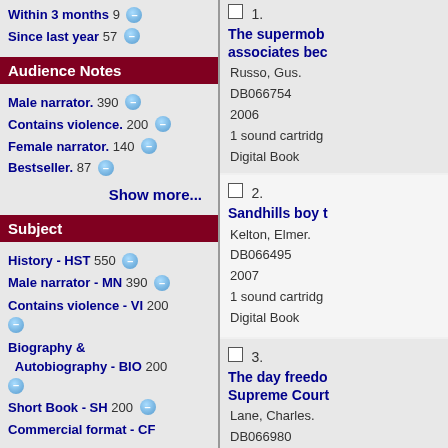Within 3 months 9
Since last year 57
Audience Notes
Male narrator. 390
Contains violence. 200
Female narrator. 140
Bestseller. 87
Show more...
Subject
History - HST 550
Male narrator - MN 390
Contains violence - VI 200
Biography & Autobiography - BIO 200
Short Book - SH 200
Commercial format - CF
1. The supermob associates bec
Russo, Gus.
DB066754
2006
1 sound cartridg
Digital Book
2. Sandhills boy t
Kelton, Elmer.
DB066495
2007
1 sound cartridg
Digital Book
3. The day freedo Supreme Court
Lane, Charles.
DB066980
2008
1 sound cartridg
Digital Book